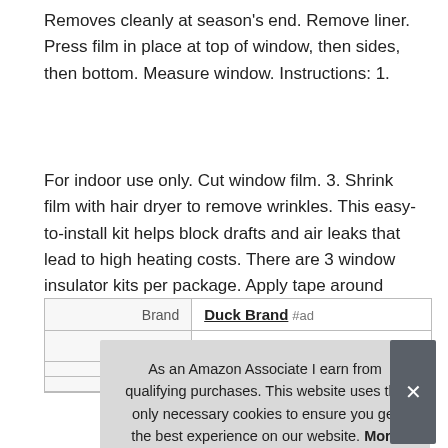Removes cleanly at season's end. Remove liner. Press film in place at top of window, then sides, then bottom. Measure window. Instructions: 1.
For indoor use only. Cut window film. 3. Shrink film with hair dryer to remove wrinkles. This easy-to-install kit helps block drafts and air leaks that lead to high heating costs. There are 3 window insulator kits per package. Apply tape around outside edge of window. Window film needs to be cut to appropriate size to fit your windows or patio door.
|  |  |
| --- | --- |
| Brand | Duck Brand #ad |
| Ma |  |
|  |  |
|  |  |
As an Amazon Associate I earn from qualifying purchases. This website uses the only necessary cookies to ensure you get the best experience on our website. More information